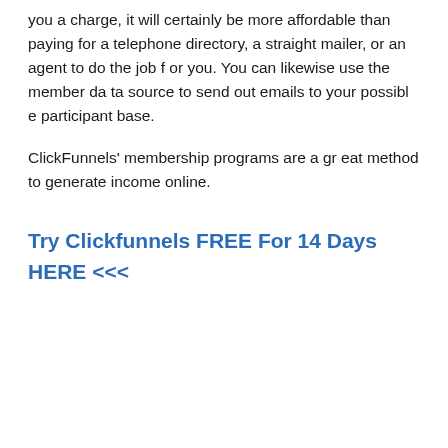you a charge, it will certainly be more affordable than paying for a telephone directory, a straight mailer, or an agent to do the job for you. You can likewise use the member data source to send out emails to your possible participant base.
ClickFunnels' membership programs are a great method to generate income online.
Try Clickfunnels FREE For 14 Days HERE <<<